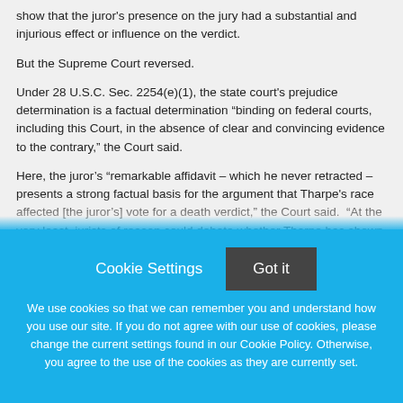show that the juror's presence on the jury had a substantial and injurious effect or influence on the verdict.
But the Supreme Court reversed.
Under 28 U.S.C. Sec. 2254(e)(1), the state court's prejudice determination is a factual determination “binding on federal courts, including this Court, in the absence of clear and convincing evidence to the contrary,” the Court said.
Here, the juror’s “remarkable affidavit – which he never retracted – presents a strong factual basis for the argument that Tharpe's race affected [the juror’s] vote for a death verdict,” the Court said.  “At the very least, jurists of reason could debate whether Tharpe has shown by
Cookie Settings
Got it
We use cookies so that we can remember you and understand how you use our site. If you do not agree with our use of cookies, please change the current settings found in our Cookie Policy. Otherwise, you agree to the use of the cookies as they are currently set.